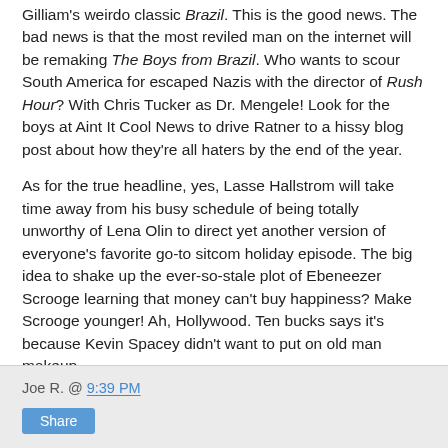Gilliam's weirdo classic Brazil. This is the good news. The bad news is that the most reviled man on the internet will be remaking The Boys from Brazil. Who wants to scour South America for escaped Nazis with the director of Rush Hour? With Chris Tucker as Dr. Mengele! Look for the boys at Aint It Cool News to drive Ratner to a hissy blog post about how they're all haters by the end of the year.
As for the true headline, yes, Lasse Hallstrom will take time away from his busy schedule of being totally unworthy of Lena Olin to direct yet another version of everyone's favorite go-to sitcom holiday episode. The big idea to shake up the ever-so-stale plot of Ebeneezer Scrooge learning that money can't buy happiness? Make Scrooge younger! Ah, Hollywood. Ten bucks says it's because Kevin Spacey didn't want to put on old man makeup.
Joe R. @ 9:39 PM | Share